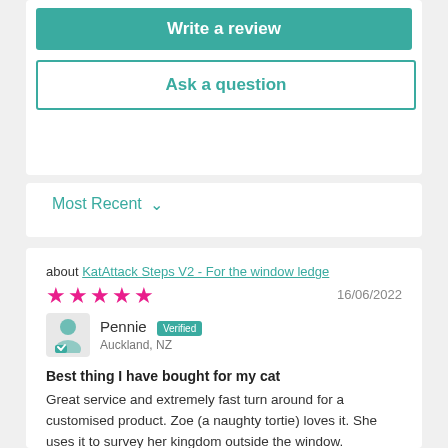Write a review
Ask a question
Most Recent
about KatAttack Steps V2 - For the window ledge
16/06/2022
Pennie  Verified  Auckland, NZ
Best thing I have bought for my cat
Great service and extremely fast turn around for a customised product. Zoe (a naughty tortie) loves it. She uses it to survey her kingdom outside the window.